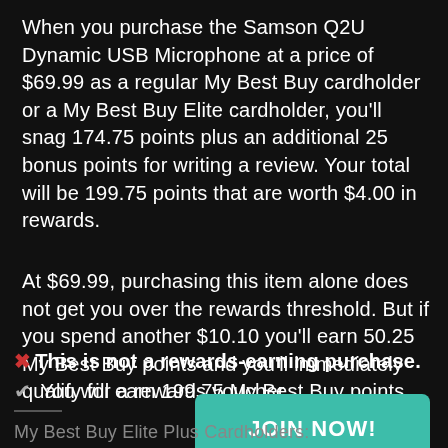When you purchase the Samson Q2U Dynamic USB Microphone at a price of $69.99 as a regular My Best Buy cardholder or a My Best Buy Elite cardholder, you'll snag 174.75 points plus an additional 25 bonus points for writing a review. Your total will be 199.75 points that are worth $4.00 in rewards.
At $69.99, purchasing this item alone does not get you over the rewards threshold. But if you spend another $10.10 you'll earn 50.25 My Best Buy points and you'll immediately qualify for a rewards voucher.
✖ This is not a rewards-earning purchase.
✔ You will earn 199.75 My Best Buy points.
[Figure (other): Teal/green JOIN NOW! button]
My Best Buy Elite Plus Cardholders: